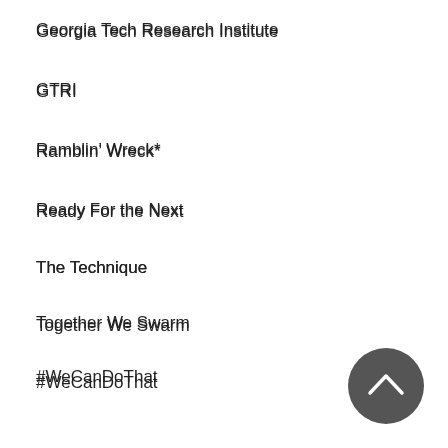Georgia Tech Research Institute
GTRI
Ramblin’ Wreck*
Ready For the Next
The Technique
Together We Swarm
#WeCanDoThat
Whistle
Yellow Jackets